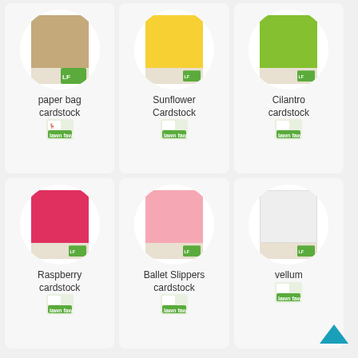[Figure (photo): Grid of 6 cardstock product cards. Top row: paper bag cardstock (tan/kraft color), Sunflower Cardstock (yellow), Cilantro cardstock (green). Bottom row: Raspberry cardstock (hot pink/red), Ballet Slippers cardstock (light pink), vellum (white/translucent). Each card has a circular white background with product image, product name text, and Lawn Fawn brand logo.]